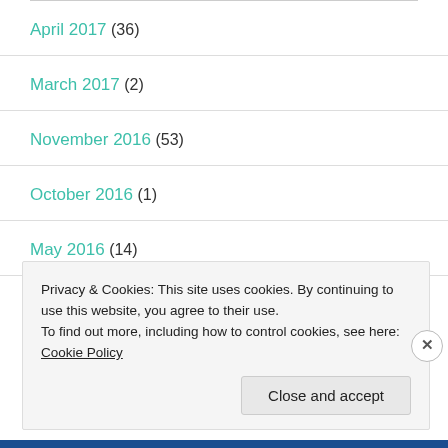April 2017 (36)
March 2017 (2)
November 2016 (53)
October 2016 (1)
May 2016 (14)
Privacy & Cookies: This site uses cookies. By continuing to use this website, you agree to their use.
To find out more, including how to control cookies, see here: Cookie Policy
Close and accept